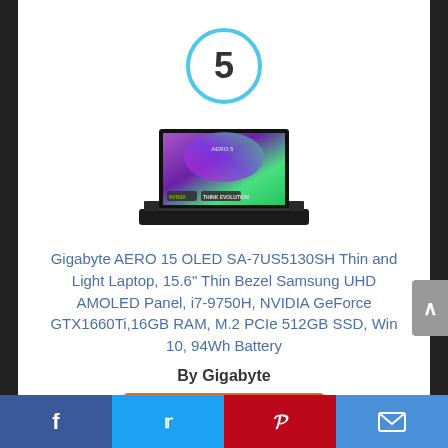[Figure (other): Number 5 inside a light blue circle, indicating ranking position 5]
[Figure (photo): Photo of a Gigabyte AERO 15 laptop with colorful OLED screen displaying wallpaper, black keyboard]
Gigabyte AERO 15 OLED SA-7US5130SH Thin and Light Laptop, 15.6" Thin Bezel Samsung UHD AMOLED Panel, i7-9750H, NVIDIA GeForce GTX1660Ti,16GB RAM, M.2 PCIe 512GB SSD, Win 10, 94Wh Battery
By Gigabyte
View Product
Facebook | Twitter | Pinterest | Email